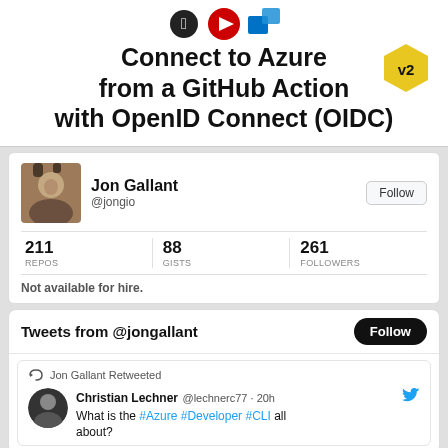[Figure (screenshot): Thumbnail for a video/article titled 'Connect to Azure from a GitHub Action with OpenID Connect (OIDC) v2', with GitHub, YouTube, and Azure logos visible at top]
[Figure (screenshot): GitHub profile card for Jon Gallant (@jongio) showing 211 repos, 88 gists, 261 followers, and 'Not available for hire.']
[Figure (screenshot): Twitter widget showing 'Tweets from @jongallant' with a Follow button and a retweeted tweet from Christian Lechner @lechnerc77 about '#Azure #Developer #CLI']